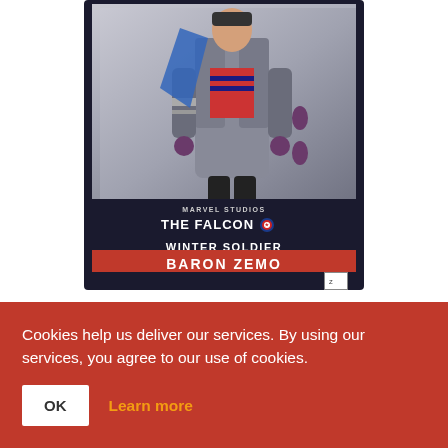[Figure (photo): Marvel Legends Series Baron Zemo action figure in packaging. The box shows the character in a gray trench coat with blue fabric and accessories. The packaging reads 'THE FALCON AND THE WINTER SOLDIER' and 'BARON ZEMO' on a red bar.]
Marvel Legends Series Figura 2021 The Falcon and the Winter Soldier
Cookies help us deliver our services. By using our services, you agree to our use of cookies.
OK  Learn more